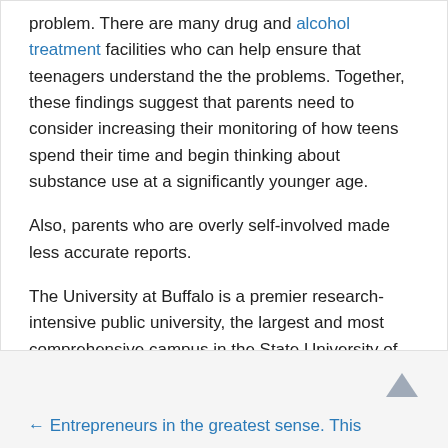problem. There are many drug and alcohol treatment facilities who can help ensure that teenagers understand the the problems. Together, these findings suggest that parents need to consider increasing their monitoring of how teens spend their time and begin thinking about substance use at a significantly younger age.
Also, parents who are overly self-involved made less accurate reports.
The University at Buffalo is a premier research-intensive public university, the largest and most comprehensive campus in the State University of New York.
← Entrepreneurs in the greatest sense. This